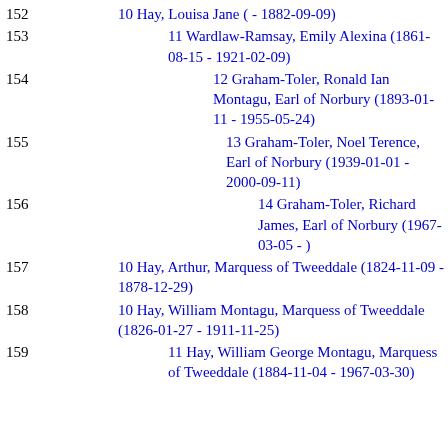152  10 Hay, Louisa Jane ( - 1882-09-09)
153  11 Wardlaw-Ramsay, Emily Alexina (1861-08-15 - 1921-02-09)
154  12 Graham-Toler, Ronald Ian Montagu, Earl of Norbury (1893-01-11 - 1955-05-24)
155  13 Graham-Toler, Noel Terence, Earl of Norbury (1939-01-01 - 2000-09-11)
156  14 Graham-Toler, Richard James, Earl of Norbury (1967-03-05 - )
157  10 Hay, Arthur, Marquess of Tweeddale (1824-11-09 - 1878-12-29)
158  10 Hay, William Montagu, Marquess of Tweeddale (1826-01-27 - 1911-11-25)
159  11 Hay, William George Montagu, Marquess of Tweeddale (1884-11-04 - 1967-03-30)